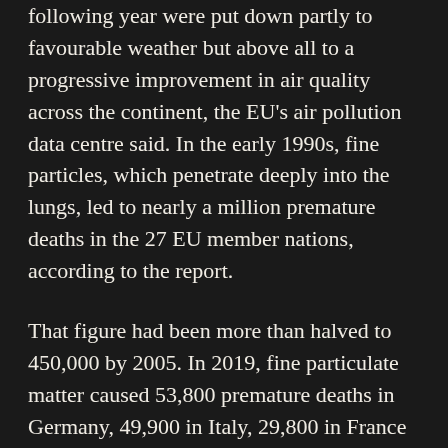following year were put down partly to favourable weather but above all to a progressive improvement in air quality across the continent, the EU's air pollution data centre said. In the early 1990s, fine particles, which penetrate deeply into the lungs, led to nearly a million premature deaths in the 27 EU member nations, according to the report.
That figure had been more than halved to 450,000 by 2005. In 2019, fine particulate matter caused 53,800 premature deaths in Germany, 49,900 in Italy, 29,800 in France and 23,300 in Spain. Poland saw 39,300 deaths, the highest figure per head of population.
The EEA also registers premature deaths linked to two other leading pollutants, but said it does not count them in its overall toll to avoid doubling up. Deaths caused by